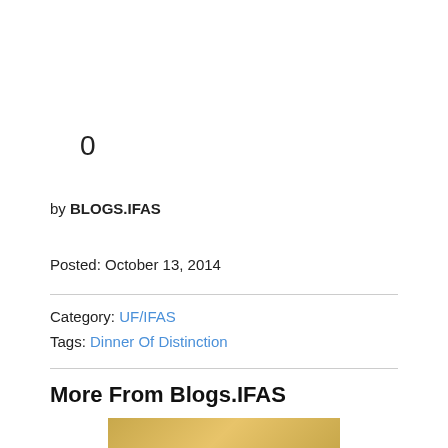0
by BLOGS.IFAS
Posted: October 13, 2014
Category: UF/IFAS
Tags: Dinner Of Distinction
More From Blogs.IFAS
[Figure (photo): Thumbnail image partially visible at bottom of page]